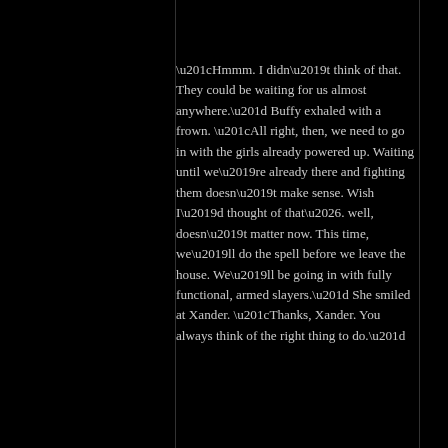“Hmmm. I didn’t think of that. They could be waiting for us almost anywhere.” Buffy exhaled with a frown. “All right, then, we need to go in with the girls already powered up. Waiting until we’re already there and fighting them doesn’t make sense. Wish I’d thought of that…. well, doesn’t matter now. This time, we’ll do the spell before we leave the house. We’ll be going in with fully functional, armed slayers.” She smiled at Xander. “Thanks, Xander. You always think of the right thing to do.”